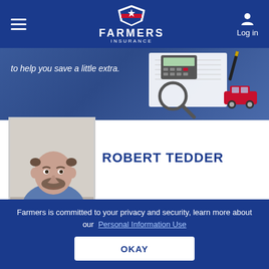[Figure (logo): Farmers Insurance logo with shield emblem, FARMERS text and INSURANCE subtext in white on navy blue navigation bar]
[Figure (screenshot): Hero banner with text 'to help you save a little extra.' on blue background, with calculator, magnifying glass, and red toy car on right side]
[Figure (photo): Headshot photo of Robert Tedder, a bald/balding man with a beard wearing a blue shirt, in a white-bordered frame]
ROBERT TEDDER
Farmers Insurance Agent in McCordsville, IN
GET A QUOTE
Farmers is committed to your privacy and security, learn more about our Personal Information Use
OKAY